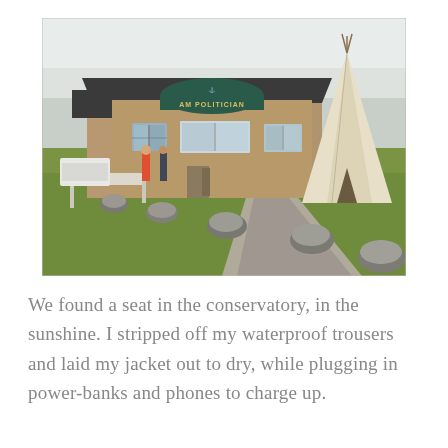[Figure (photo): Exterior photograph of a building called 'Am Politician', a low brick building with a dark roof and a sign above the entrance. A large teepee/tipi tent is visible to the right. In the foreground is a grassy lawn with several large stones arranged along a path. People are visible near the entrance. Sky is overcast.]
We found a seat in the conservatory, in the sunshine. I stripped off my waterproof trousers and laid my jacket out to dry, while plugging in power-banks and phones to charge up.